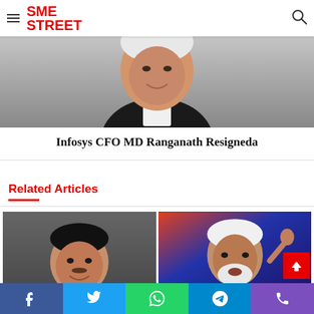[Figure (photo): SME Street website screenshot showing logo with hamburger menu and search icon in header, a person photo (Infosys CFO MD Ranganath), article title, Related Articles section with two thumbnails of politicians (Nitin Gadkari and Narendra Modi), and social share bar at bottom]
Infosys CFO MD Ranganath Resigneda
Related Articles
[Figure (photo): Thumbnail photo of Nitin Gadkari, smiling, wearing a dark vest over a light shirt]
[Figure (photo): Thumbnail photo of Narendra Modi speaking at podium, wearing white shawl, with blue and red background]